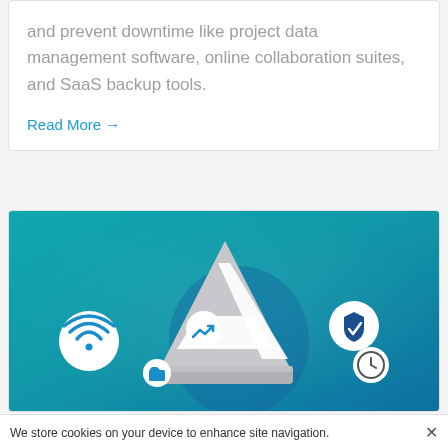and prevent downtime like project data management software, online collaboration suites, and SaaS backup tools.
Read More →
[Figure (illustration): Teal/blue gradient background with a grey traffic cone in the center surrounded by floating icons: WiFi symbol, trending arrow, folder, shield with checkmark, and clock.]
We store cookies on your device to enhance site navigation.